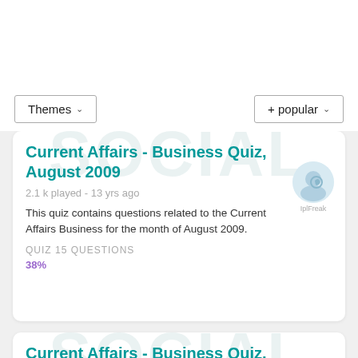Themes ∨
+ popular ∨
Current Affairs - Business Quiz, August 2009
2.1 k played - 13 yrs ago
This quiz contains questions related to the Current Affairs Business for the month of August 2009.
QUIZ 15 QUESTIONS
38%
Current Affairs - Business Quiz, July 2009